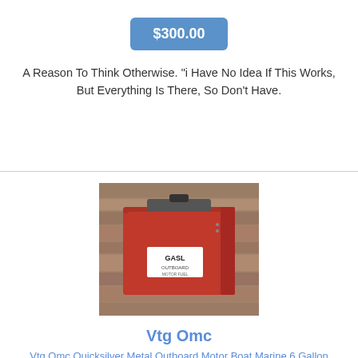$300.00
A Reason To Think Otherwise. "i Have No Idea If This Works, But Everything Is There, So Don't Have.
[Figure (photo): Red vintage OMC metal outboard motor boat marine gas can sitting against a wooden plank background, with a black fuel cap on top and a white label reading GASL on the front.]
Vtg Omc
Vtg Omc Quicksilver Metal Outboard Motor Boat Marine 6 Gallon